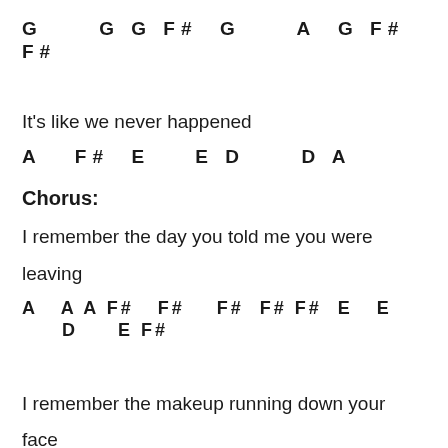G    G G F#  G    A  G F# F#
It's like we never happened
A  F#  E   E D    D A
Chorus:
I remember the day you told me you were leaving
A  A A F#  F#   F#  F# F#  E  E    D    E F#
I remember the makeup running down your face